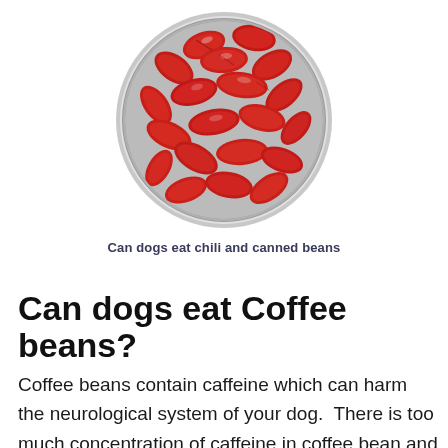[Figure (photo): Circular bowl filled with red kidney beans viewed from above]
Can dogs eat chili and canned beans
Can dogs eat Coffee beans?
Coffee beans contain caffeine which can harm the neurological system of your dog.  There is too much concentration of caffeine in coffee bean and